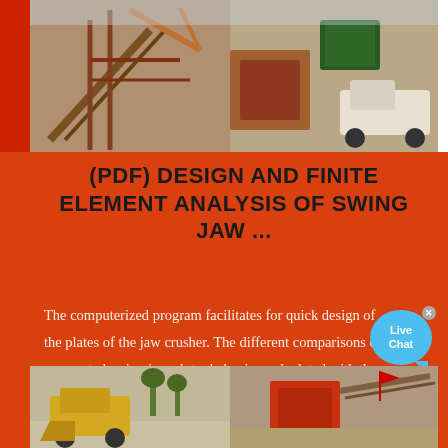[Figure (photo): Industrial mining/crushing equipment scene at top of page — conveyor belts, cranes, jaw crushers, and a truck visible]
(PDF) DESIGN AND FINITE ELEMENT ANALYSIS OF SWING JAW ...
The computerized program facilitates for quick design of the plates of the jaw crusher. The different comparisons of corrugated swing jaw plates behavior, calculated with the traditional and the new FEA failure models with stiffeners, shows that some 10-25% savings in plate weight may be possible.
[Figure (photo): Industrial mining/crushing equipment scene at bottom of page — earthmovers, crushers, conveyors and quarry equipment]